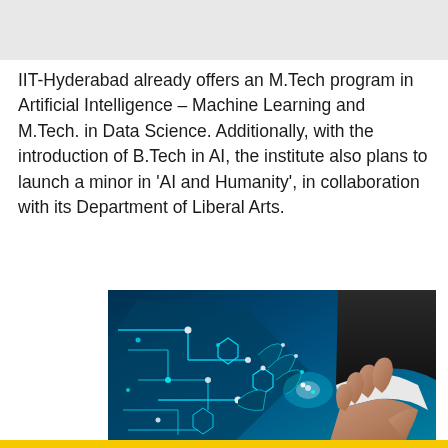IIT-Hyderabad already offers an M.Tech program in Artificial Intelligence – Machine Learning and M.Tech. in Data Science. Additionally, with the introduction of B.Tech in AI, the institute also plans to launch a minor in 'AI and Humanity', in collaboration with its Department of Liberal Arts.
[Figure (photo): A human hand in a suit sleeve shaking hands with a digital circuit-board hand, symbolizing the collaboration between humans and artificial intelligence, set against a blue background.]